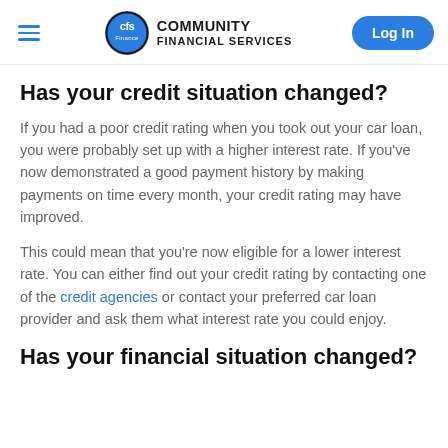Community Financial Services – Navigation header with logo and Log In button
Has your credit situation changed?
If you had a poor credit rating when you took out your car loan, you were probably set up with a higher interest rate. If you've now demonstrated a good payment history by making payments on time every month, your credit rating may have improved.
This could mean that you're now eligible for a lower interest rate. You can either find out your credit rating by contacting one of the credit agencies or contact your preferred car loan provider and ask them what interest rate you could enjoy.
Has your financial situation changed?